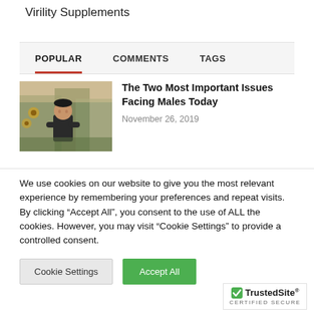Virility Supplements
POPULAR   COMMENTS   TAGS
[Figure (photo): Young man smiling outdoors with trees in background]
The Two Most Important Issues Facing Males Today
November 26, 2019
We use cookies on our website to give you the most relevant experience by remembering your preferences and repeat visits. By clicking “Accept All”, you consent to the use of ALL the cookies. However, you may visit "Cookie Settings" to provide a controlled consent.
Cookie Settings   Accept All
[Figure (logo): TrustedSite CERTIFIED SECURE badge]